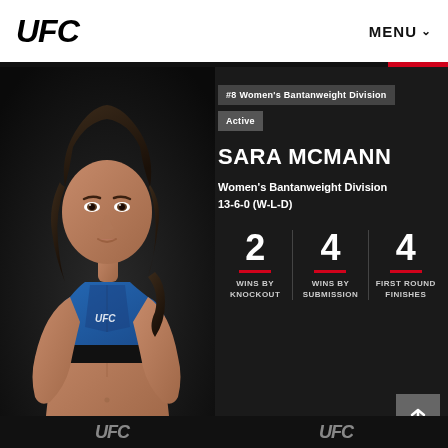UFC   MENU
[Figure (photo): Sara McMann fighter portrait photo wearing blue UFC sports bra against dark background]
#8 Women's Bantanweight Division   Active
SARA MCMANN
Women's Bantanweight Division
13-6-0 (W-L-D)
2  WINS BY KNOCKOUT   4  WINS BY SUBMISSION   4  FIRST ROUND FINISHES